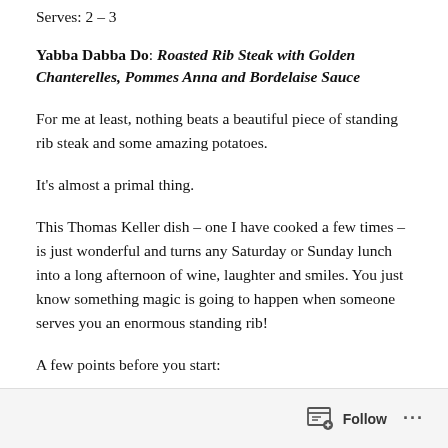Serves: 2 – 3
Yabba Dabba Do: Roasted Rib Steak with Golden Chanterelles, Pommes Anna and Bordelaise Sauce
For me at least, nothing beats a beautiful piece of standing rib steak and some amazing potatoes.
It's almost a primal thing.
This Thomas Keller dish – one I have cooked a few times – is just wonderful and turns any Saturday or Sunday lunch into a long afternoon of wine, laughter and smiles. You just know something magic is going to happen when someone serves you an enormous standing rib!
A few points before you start:
Follow